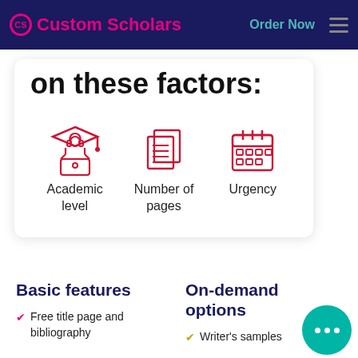Custom Scholars — Order Now
on these factors:
[Figure (infographic): Three red icons: Academic level (student at laptop with graduation cap), Number of pages (stacked documents), Urgency (calendar)]
Basic features
On-demand options
Free title page and bibliography
Writer's samples